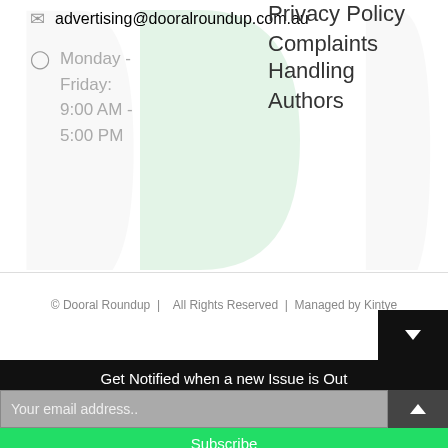advertising@dooralroundup.com.au
Monday - Friday: 9:00 AM - 5:00 PM
Privacy Policy
Complaints Handling
Authors
© Dooral Roundup | All Rights Reserved | Managed by Kintye
Get Notified when a new Issue is Out
Your email address..
Subscribe